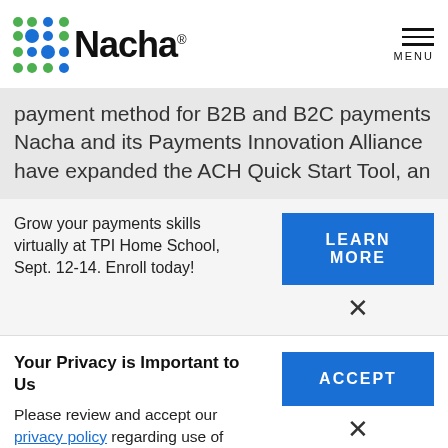Nacha — MENU
payment method for B2B and B2C payments Nacha and its Payments Innovation Alliance have expanded the ACH Quick Start Tool, an
Grow your payments skills virtually at TPI Home School, Sept. 12-14. Enroll today!
LEARN MORE
Your Privacy is Important to Us
Please review and accept our privacy policy regarding use of cookies and related technologies.
ACCEPT